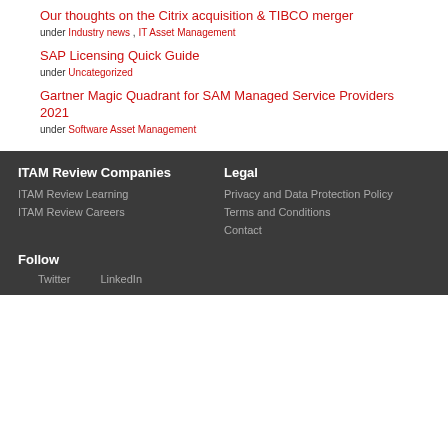Our thoughts on the Citrix acquisition & TIBCO merger
under Industry news , IT Asset Management
SAP Licensing Quick Guide
under Uncategorized
Gartner Magic Quadrant for SAM Managed Service Providers 2021
under Software Asset Management
ITAM Review Companies
ITAM Review Learning
ITAM Review Careers
Legal
Privacy and Data Protection Policy
Terms and Conditions
Contact
Follow
Twitter
LinkedIn